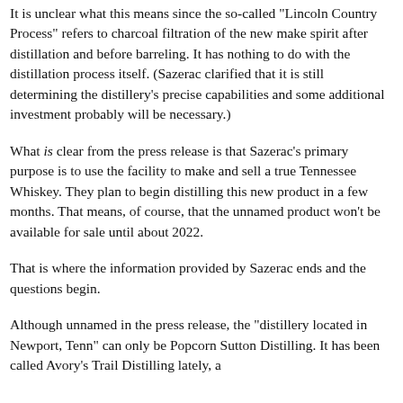It is unclear what this means since the so-called "Lincoln Country Process" refers to charcoal filtration of the new make spirit after distillation and before barreling. It has nothing to do with the distillation process itself. (Sazerac clarified that it is still determining the distillery's precise capabilities and some additional investment probably will be necessary.)
What is clear from the press release is that Sazerac's primary purpose is to use the facility to make and sell a true Tennessee Whiskey. They plan to begin distilling this new product in a few months. That means, of course, that the unnamed product won't be available for sale until about 2022.
That is where the information provided by Sazerac ends and the questions begin.
Although unnamed in the press release, the "distillery located in Newport, Tenn" can only be Popcorn Sutton Distilling. It has been called Avory's Trail Distilling lately, a